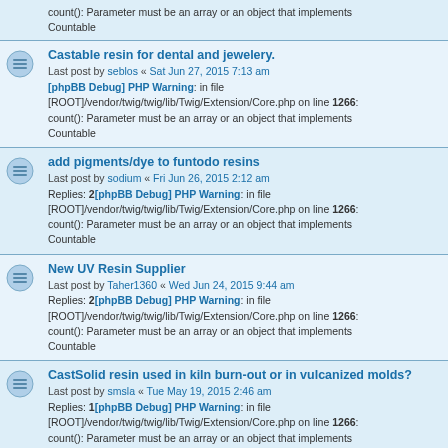count(): Parameter must be an array or an object that implements Countable
Castable resin for dental and jewelery. Last post by seblos « Sat Jun 27, 2015 7:13 am [phpBB Debug] PHP Warning: in file [ROOT]/vendor/twig/twig/lib/Twig/Extension/Core.php on line 1266: count(): Parameter must be an array or an object that implements Countable
add pigments/dye to funtodo resins Last post by sodium « Fri Jun 26, 2015 2:12 am Replies: 2[phpBB Debug] PHP Warning: in file [ROOT]/vendor/twig/twig/lib/Twig/Extension/Core.php on line 1266: count(): Parameter must be an array or an object that implements Countable
New UV Resin Supplier Last post by Taher1360 « Wed Jun 24, 2015 9:44 am Replies: 2[phpBB Debug] PHP Warning: in file [ROOT]/vendor/twig/twig/lib/Twig/Extension/Core.php on line 1266: count(): Parameter must be an array or an object that implements Countable
CastSolid resin used in kiln burn-out or in vulcanized molds? Last post by smsla « Tue May 19, 2015 2:46 am Replies: 1[phpBB Debug] PHP Warning: in file [ROOT]/vendor/twig/twig/lib/Twig/Extension/Core.php on line 1266: count(): Parameter must be an array or an object that implements Countable
How MadeSolid CastSolid & Deep Red burns... in my tests Last post by smsla « Mon May 18, 2015 8:29 pm [phpBB Debug] PHP Warning: in file [ROOT]/vendor/twig/twig/lib/Twig/Extension/Core.php on line 1266: count(): Parameter must be an array or an object that implements Countable
Test and Calibration on Funtodo Resin